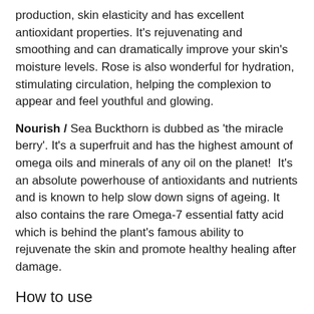production, skin elasticity and has excellent antioxidant properties. It's rejuvenating and smoothing and can dramatically improve your skin's moisture levels. Rose is also wonderful for hydration, stimulating circulation, helping the complexion to appear and feel youthful and glowing.
Nourish / Sea Buckthorn is dubbed as 'the miracle berry'. It's a superfruit and has the highest amount of omega oils and minerals of any oil on the planet! It's an absolute powerhouse of antioxidants and nutrients and is known to help slow down signs of ageing. It also contains the rare Omega-7 essential fatty acid which is behind the plant's famous ability to rejuvenate the skin and promote healthy healing after damage.
How to use
To use: Using fingertips, gently massage a few drops onto freshly cleansed and toned face in the morning and before bed, being extra gentle around the delicate eye area.